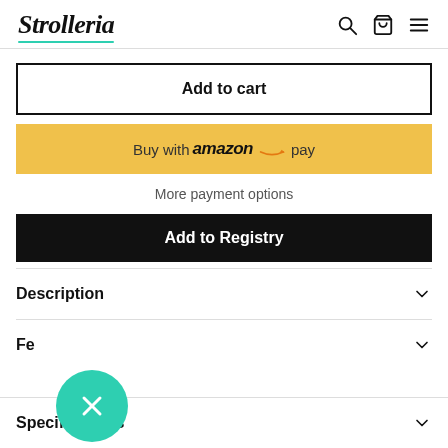Strolleria
Add to cart
Buy with amazon pay
More payment options
Add to Registry
Description
Features
Specifications